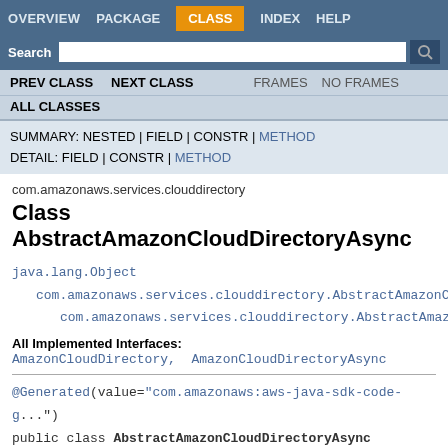OVERVIEW  PACKAGE  CLASS  INDEX  HELP
Search
PREV CLASS  NEXT CLASS  FRAMES  NO FRAMES
ALL CLASSES
SUMMARY: NESTED | FIELD | CONSTR | METHOD
DETAIL: FIELD | CONSTR | METHOD
com.amazonaws.services.clouddirectory
Class AbstractAmazonCloudDirectoryAsync
java.lang.Object
    com.amazonaws.services.clouddirectory.AbstractAmazonCloudD...
        com.amazonaws.services.clouddirectory.AbstractAmazonC...
All Implemented Interfaces:
AmazonCloudDirectory, AmazonCloudDirectoryAsync
@Generated(value="com.amazonaws:aws-java-sdk-code-g...
public class AbstractAmazonCloudDirectoryAsync
extends AbstractAmazonCloudDirectory
implements AmazonCloudDirectoryAsync